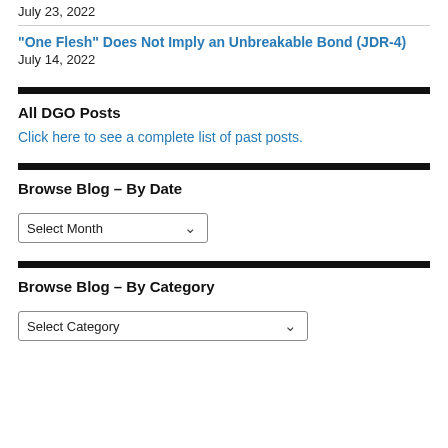July 23, 2022
"One Flesh" Does Not Imply an Unbreakable Bond (JDR-4)
July 14, 2022
All DGO Posts
Click here to see a complete list of past posts.
Browse Blog – By Date
Select Month
Browse Blog – By Category
Select Category